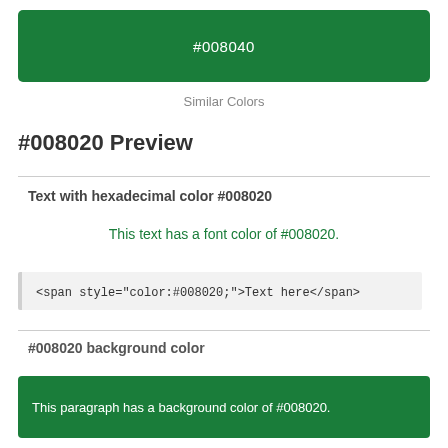#008040
Similar Colors
#008020 Preview
Text with hexadecimal color #008020
This text has a font color of #008020.
<span style="color:#008020;">Text here</span>
#008020 background color
This paragraph has a background color of #008020.